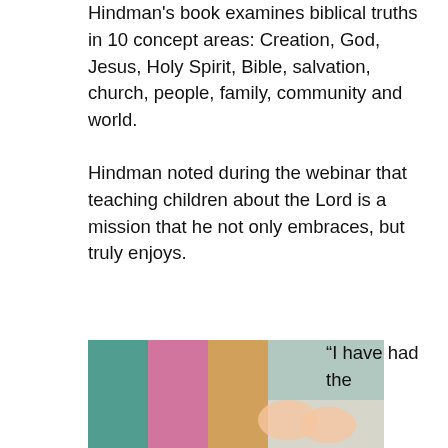Hindman's book examines biblical truths in 10 concept areas: Creation, God, Jesus, Holy Spirit, Bible, salvation, church, people, family, community and world.
Hindman noted during the webinar that teaching children about the Lord is a mission that he not only embraces, but truly enjoys.
“I love what I do,” he said. “I love the opportunity to impact families. The most important responsibility I have is to teach Biblical truths at church that partners with what mamas and daddies are doing at home.”
Hulsey said Hindman has done an excellent job in accomplishing that goal. She said she especially enjoys the fact that Every Age, Every Stage is more extensive than some of the systems used in the past.
[Figure (photo): Photo of hands holding a sign or paper, partially visible at the bottom of the page]
“I have had the